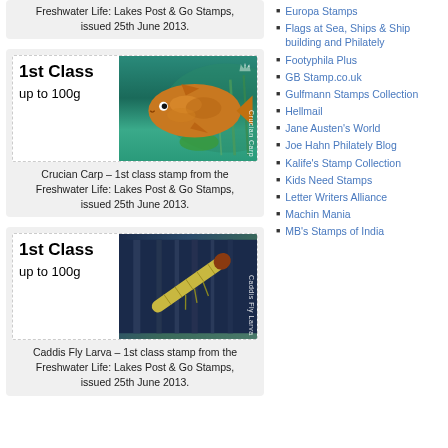Freshwater Life: Lakes Post & Go Stamps, issued 25th June 2013.
[Figure (illustration): 1st Class up to 100g stamp showing Crucian Carp fish on teal/green underwater background from Freshwater Life: Lakes Post & Go Stamps]
Crucian Carp – 1st class stamp from the Freshwater Life: Lakes Post & Go Stamps, issued 25th June 2013.
[Figure (illustration): 1st Class up to 100g stamp showing Caddis Fly Larva on dark blue-green background from Freshwater Life: Lakes Post & Go Stamps]
Caddis Fly Larva – 1st class stamp from the Freshwater Life: Lakes Post & Go Stamps, issued 25th June 2013.
Europa Stamps
Flags at Sea, Ships & Ship building and Philately
Footyphila Plus
GB Stamp.co.uk
Gulfmann Stamps Collection
Hellmail
Jane Austen's World
Joe Hahn Philately Blog
Kalife's Stamp Collection
Kids Need Stamps
Letter Writers Alliance
Machin Mania
MB's Stamps of India